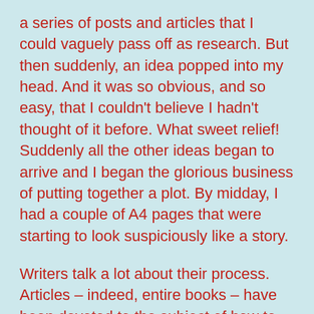a series of posts and articles that I could vaguely pass off as research. But then suddenly, an idea popped into my head. And it was so obvious, and so easy, that I couldn't believe I hadn't thought of it before. What sweet relief! Suddenly all the other ideas began to arrive and I began the glorious business of putting together a plot. By midday, I had a couple of A4 pages that were starting to look suspiciously like a story.
Writers talk a lot about their process. Articles – indeed, entire books – have been devoted to the subject of how to write. My MA peers, when we meet, represent the entire gamut of book writing methodology, from blow by blow post it note plotting, to 1000 words a day for the whole of November NO MATTER WHAT, to my rather less precise notion that I'll write when I have time and the mood takes me and the ideas will happen when they